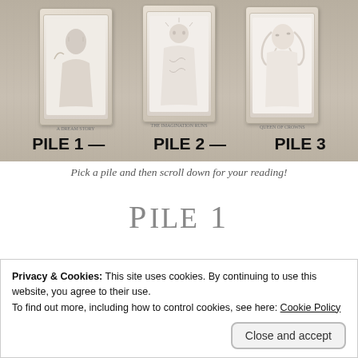[Figure (illustration): Tarot card spread image showing three face-up cards labeled PILE 1, PILE 2, and PILE 3 on a textured background]
Pick a pile and then scroll down for your reading!
Pile 1
Privacy & Cookies: This site uses cookies. By continuing to use this website, you agree to their use.
To find out more, including how to control cookies, see here: Cookie Policy
Close and accept